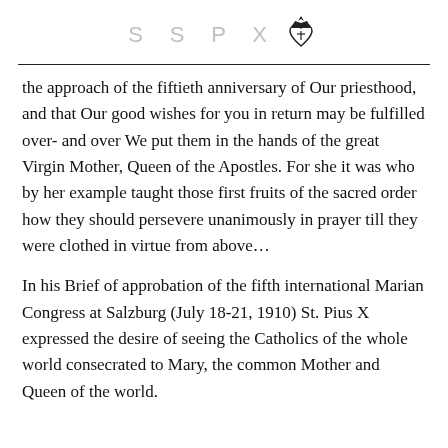SSPX
the approach of the fiftieth anniversary of Our priesthood, and that Our good wishes for you in return may be fulfilled over- and over We put them in the hands of the great Virgin Mother, Queen of the Apostles. For she it was who by her example taught those first fruits of the sacred order how they should persevere unanimously in prayer till they were clothed in virtue from above…
In his Brief of approbation of the fifth international Marian Congress at Salzburg (July 18-21, 1910) St. Pius X expressed the desire of seeing the Catholics of the whole world consecrated to Mary, the common Mother and Queen of the world.